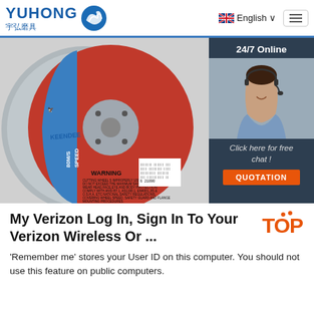[Figure (logo): YUHONG (宇弘磨具) logo with blue wave icon]
English ∨
[Figure (photo): Cutting disc/grinding wheel product photo with KEENDEE and YUHONG branding, speed 80M/S, WARNING text and barcode. Overlaid with a 24/7 Online chat widget featuring a customer service agent photo, 'Click here for free chat!' text, and QUOTATION button.]
My Verizon Log In, Sign In To Your Verizon Wireless Or ...
'Remember me' stores your User ID on this computer. You should not use this feature on public computers.